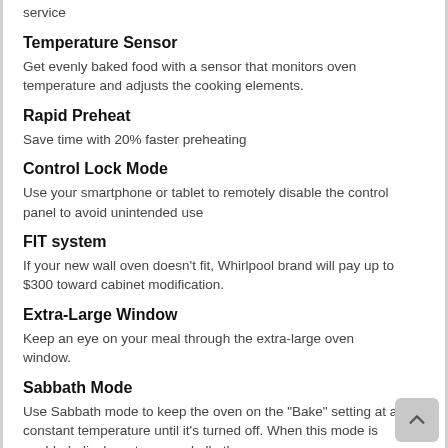service
Temperature Sensor
Get evenly baked food with a sensor that monitors oven temperature and adjusts the cooking elements.
Rapid Preheat
Save time with 20% faster preheating
Control Lock Mode
Use your smartphone or tablet to remotely disable the control panel to avoid unintended use
FIT system
If your new wall oven doesn't fit, Whirlpool brand will pay up to $300 toward cabinet modification.
Extra-Large Window
Keep an eye on your meal through the extra-large oven window.
Sabbath Mode
Use Sabbath mode to keep the oven on the "Bake" setting at a constant temperature until it's turned off. When this mode is enabled, displays, tones and all other